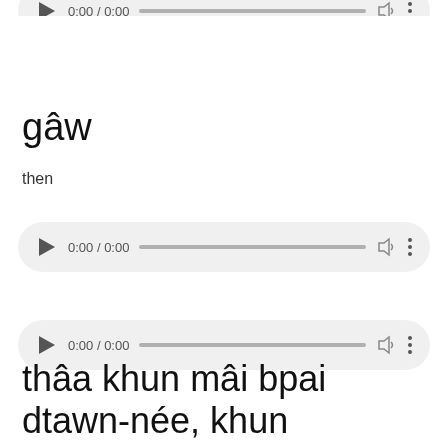[Figure (screenshot): Audio player at top of page showing 0:00 / 0:00 timestamp with play button, progress bar, volume and menu icons]
gâw
then
[Figure (screenshot): Audio player showing 0:00 / 0:00 timestamp with play button, progress bar, volume and menu icons]
[Figure (screenshot): Audio player showing 0:00 / 0:00 timestamp with play button, progress bar, volume and menu icons]
thâa khun mâi bpai dtawn-née, khun